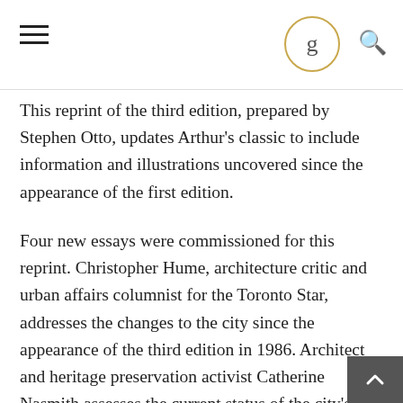9
This reprint of the third edition, prepared by Stephen Otto, updates Arthur's classic to include information and illustrations uncovered since the appearance of the first edition.
Four new essays were commissioned for this reprint. Christopher Hume, architecture critic and urban affairs columnist for the Toronto Star, addresses the changes to the city since the appearance of the third edition in 1986. Architect and heritage preservation activist Catherine Nasmith assesses the current status of the city's heritage preservation movement. Susan Crean, a freelance writer in Toronto, explores Toronto's vibrant arts scene. Mark Kingwell, professor and cultural